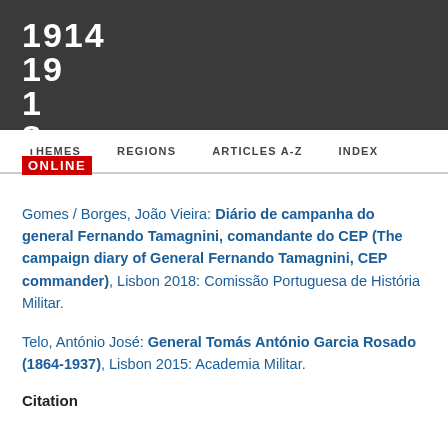[Figure (logo): 1914-1918 Online logo with red ONLINE badge on dark background banner]
THEMES   REGIONS   ARTICLES A-Z   INDEX
Gomes / Borges, João Vieira: Diário de campanha do general Fernando Tamagnini, comandante do CEP (The campaign diary of General Fernando Tamagnini, CEP commander), Lisbon 2018: Comissão Portuguesa de História Militar.
Telo, António José: General Tomás António Garcia Rosado (1864-1937), Lisbon 2015: Academia Militar.
Citation